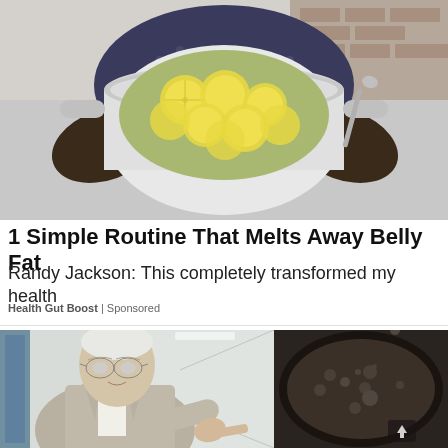[Figure (photo): A person holding a large silver pot filled with lemon slices in liquid, shot from above in a kitchen setting]
1 Simple Routine That Melts Away Belly Fat
Randy Jackson: This completely transformed my health
Health Gut Boost | Sponsored
[Figure (photo): Left half: older man in suit and glasses pointing to the right in a hospital corridor. Right half: overhead view of a dark bubbling mixture in a round pan/pot.]